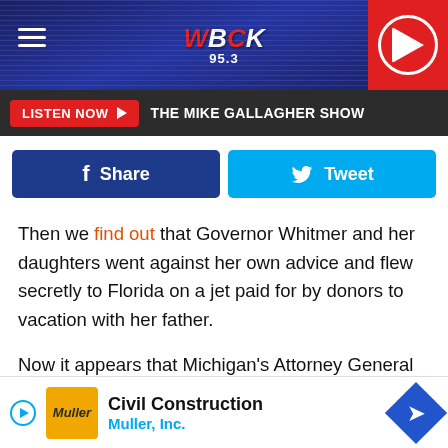WBCK 95.3 — THE MIKE GALLAGHER SHOW
[Figure (screenshot): Share on Facebook and Tweet social media buttons]
Then we find out that Governor Whitmer and her daughters went against her own advice and flew secretly to Florida on a jet paid for by donors to vacation with her father.
Now it appears that Michigan's Attorney General Dana Nessel must have felt left out of the rules for thee but not for me scam the Michigan elected officials have been playing. The Mi... ...ed us to the ...
[Figure (screenshot): Civil Construction — Muller, Inc. advertisement banner at bottom of page]